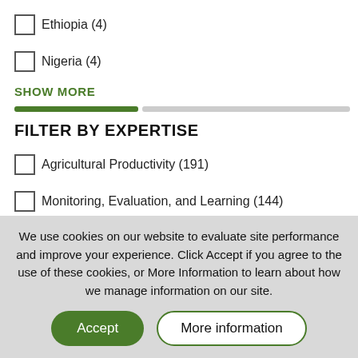Ethiopia (4)
Nigeria (4)
SHOW MORE
FILTER BY EXPERTISE
Agricultural Productivity (191)
Monitoring, Evaluation, and Learning (144)
We use cookies on our website to evaluate site performance and improve your experience. Click Accept if you agree to the use of these cookies, or More Information to learn about how we manage information on our site.